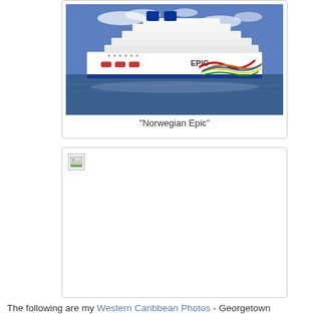[Figure (photo): Large cruise ship named 'Norwegian Epic' sailing on the ocean with blue sky and colorful wave-like decorations on the hull.]
"Norwegian Epic"
[Figure (photo): Broken/missing image placeholder (small broken image icon in top-left corner, otherwise white/empty rectangle).]
The following are my Western Caribbean Photos - Georgetown